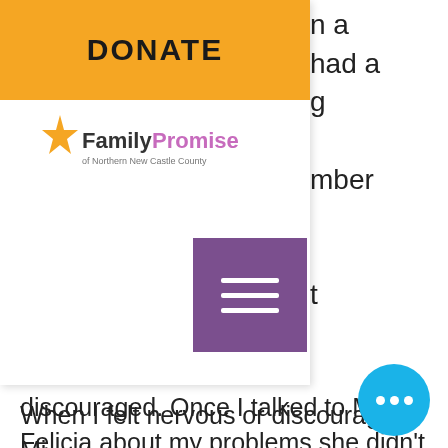DONATE
[Figure (logo): Family Promise of Northern New Castle County logo with orange star and colorful text]
[Figure (other): Purple hamburger menu button with three white horizontal lines]
discouraged. Once I talked to Miss Felicia about my problems she didn't hesitate to help me. In her heart she believed in me and she knew I needed a little push.
[Figure (other): Blue circular chat/more options button with three white dots]
When I felt nervous or discouraged, Miss Felicia would tell me it would be alright, and